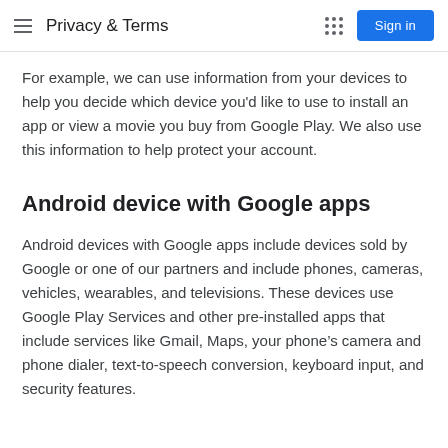Privacy & Terms
For example, we can use information from your devices to help you decide which device you'd like to use to install an app or view a movie you buy from Google Play. We also use this information to help protect your account.
Android device with Google apps
Android devices with Google apps include devices sold by Google or one of our partners and include phones, cameras, vehicles, wearables, and televisions. These devices use Google Play Services and other pre-installed apps that include services like Gmail, Maps, your phone's camera and phone dialer, text-to-speech conversion, keyboard input, and security features.